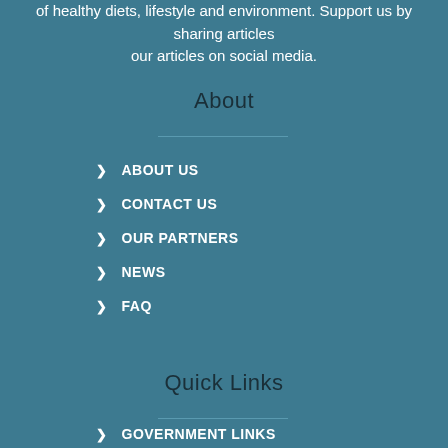of healthy diets, lifestyle and environment. Support us by sharing articles our articles on social media.
About
ABOUT US
CONTACT US
OUR PARTNERS
NEWS
FAQ
Quick Links
GOVERNMENT LINKS